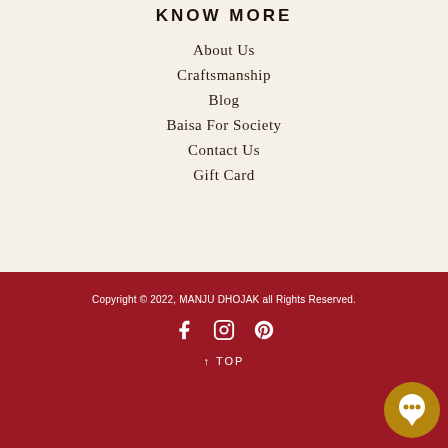KNOW MORE
About Us
Craftsmanship
Blog
Baisa For Society
Contact Us
Gift Card
Copyright © 2022, MANJU DHOJAK all Rights Reserved.
[Figure (infographic): Social media icons: Facebook, Instagram, Pinterest]
↑ TOP